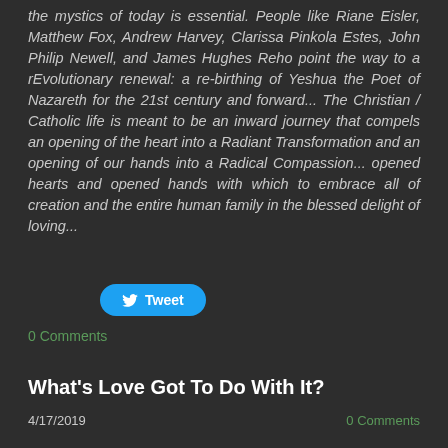the mystics of today is essential. People like Riane Eisler, Matthew Fox, Andrew Harvey, Clarissa Pinkola Estes, John Philip Newell, and James Hughes Reho point the way to a rEvolutionary renewal: a re-birthing of Yeshua the Poet of Nazareth for the 21st century and forward... The Christian / Catholic life is meant to be an inward journey that compels an opening of the heart into a Radiant Transformation and an opening of our hands into a Radical Compassion... opened hearts and opened hands with which to embrace all of creation and the entire human family in the blessed delight of loving...
[Figure (other): Tweet button with Twitter bird icon]
0 Comments
What's Love Got To Do With It?
4/17/2019
0 Comments